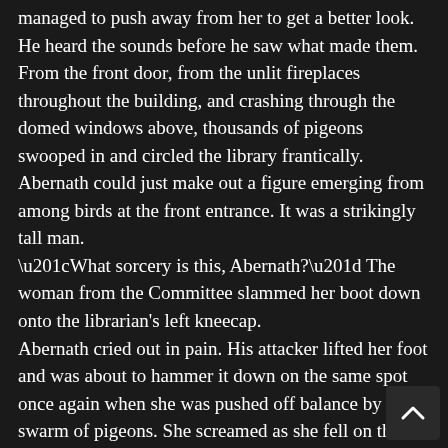managed to push away from her to get a better look. He heard the sounds before he saw what made them. From the front door, from the unlit fireplaces throughout the building, and crashing through the domed windows above, thousands of pigeons swooped in and circled the library frantically. Abernath could just make out a figure emerging from among birds at the front entrance. It was a strikingly tall man. “What sorcery is this, Abernath?” The woman from the Committee slammed her boot down onto the librarian’s left kneecap. Abernath cried out in pain. His attacker lifted her foot and was about to hammer it down on the same spot once again when she was pushed off balance by a swarm of pigeons. She screamed as she fell on the floor next to Abernath and flailed her arms and legs at the birds. Abernath looked back down to where Gemma was collecting her scattered papers from the floor. In the pile, unbeknownst to the girl was the scroll. Abernath